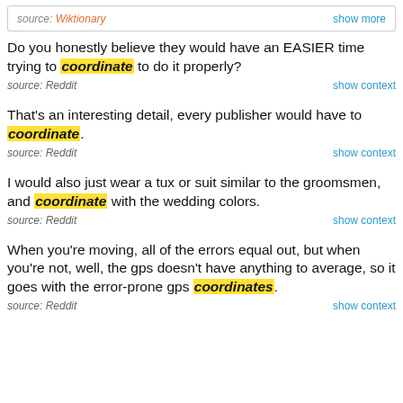source: Wiktionary   show more
Do you honestly believe they would have an EASIER time trying to coordinate to do it properly?
source: Reddit   show context
That's an interesting detail, every publisher would have to coordinate.
source: Reddit   show context
I would also just wear a tux or suit similar to the groomsmen, and coordinate with the wedding colors.
source: Reddit   show context
When you're moving, all of the errors equal out, but when you're not, well, the gps doesn't have anything to average, so it goes with the error-prone gps coordinates.
source: Reddit   show context